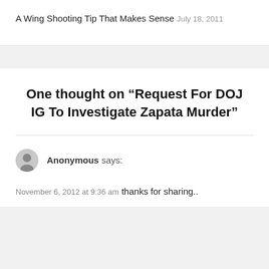A Wing Shooting Tip That Makes Sense
July 18, 2011
One thought on “Request For DOJ IG To Investigate Zapata Murder”
Anonymous says:
November 6, 2012 at 9:36 am
thanks for sharing..